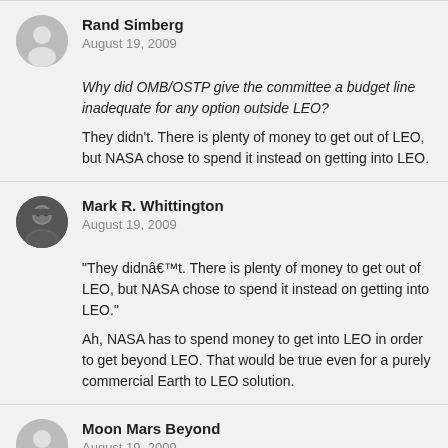Rand Simberg
August 19, 2009
Why did OMB/OSTP give the committee a budget line inadequate for any option outside LEO?
They didn't. There is plenty of money to get out of LEO, but NASA chose to spend it instead on getting into LEO.
Mark R. Whittington
August 19, 2009
"They didnâ€™t. There is plenty of money to get out of LEO, but NASA chose to spend it instead on getting into LEO."
Ah, NASA has to spend money to get into LEO in order to get beyond LEO. That would be true even for a purely commercial Earth to LEO solution.
Moon Mars Beyond
August 19, 2009
The solution is simple, allocate 3% of the stimulus